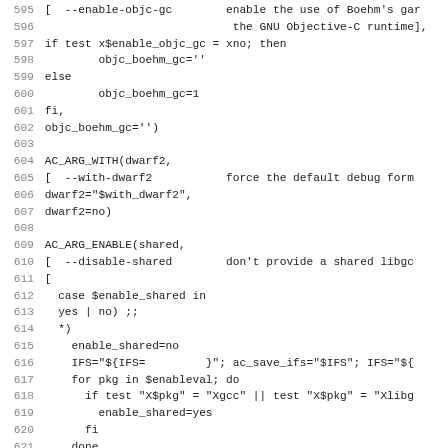595 [  --enable-objc-gc        enable the use of Boehm's gar
596                             the GNU Objective-C runtime],
597 if test x$enable_objc_gc = xno; then
598         objc_boehm_gc=''
599 else
600         objc_boehm_gc=1
601 fi,
602 objc_boehm_gc='')
603 
604 AC_ARG_WITH(dwarf2,
605 [  --with-dwarf2           force the default debug form
606 dwarf2="$with_dwarf2",
607 dwarf2=no)
608 
609 AC_ARG_ENABLE(shared,
610 [  --disable-shared        don't provide a shared libgc
611 [
612   case $enable_shared in
613   yes | no) ;;
614   *)
615     enable_shared=no
616     IFS="${IFS=         }"; ac_save_ifs="$IFS"; IFS="${
617     for pkg in $enableval; do
618       if test "X$pkg" = "Xgcc" || test "X$pkg" = "Xlibg
619         enable_shared=yes
620       fi
621     done
622     IFS="$ac_save_ifs"
623     ;;
624   esac
625 ], [enable_shared=yes])
626 AC_SUBST(enable_shared)